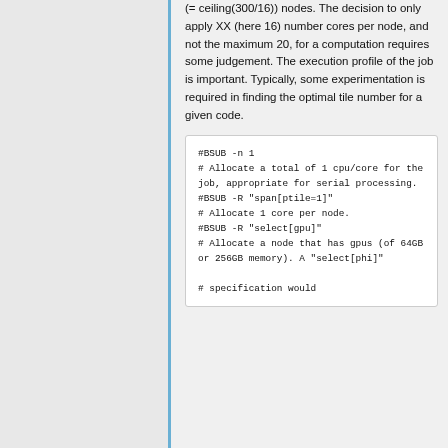(= ceiling(300/16)) nodes. The decision to only apply XX (here 16) number cores per node, and not the maximum 20, for a computation requires some judgement. The execution profile of the job is important. Typically, some experimentation is required in finding the optimal tile number for a given code.
#BSUB -n 1
# Allocate a total of 1 cpu/core for the job, appropriate for serial processing.
#BSUB -R "span[ptile=1]"
# Allocate 1 core per node.
#BSUB -R "select[gpu]"
# Allocate a node that has gpus (of 64GB or 256GB memory). A "select[phi]"

# specification would